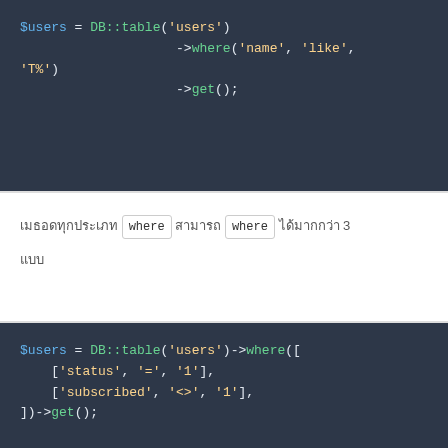$users = DB::table('users')
                    ->where('name', 'like',
'T%')
                    ->get();
เมธอด where สามารถ where ได้มากกว่า 3 แบบ
$users = DB::table('users')->where([
    ['status', '=', '1'],
    ['subscribed', '<>', '1'],
])->get();
การPDO การดำเนินคำสั่งที่มีความต้องการข้อมูลเพิ่มเติม